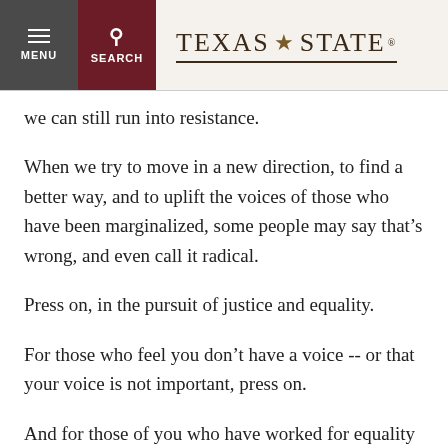MENU | SEARCH | TEXAS STATE
we can still run into resistance.
When we try to move in a new direction, to find a better way, and to uplift the voices of those who have been marginalized, some people may say that’s wrong, and even call it radical.
Press on, in the pursuit of justice and equality.
For those who feel you don’t have a voice -- or that your voice is not important, press on.
And for those of you who have worked for equality all